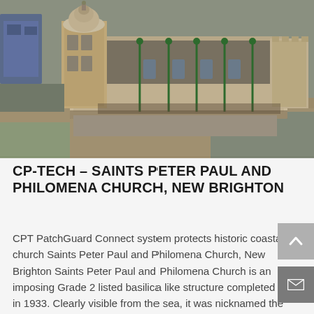[Figure (photo): Aerial drone photograph of Saints Peter Paul and Philomena Church, New Brighton — a large stone basilica-style building with a dome tower on the left, long nave with green downpipes, and surrounding streets visible from above.]
CP-TECH – SAINTS PETER PAUL AND PHILOMENA CHURCH, NEW BRIGHTON
CPT PatchGuard Connect system protects historic coastal church Saints Peter Paul and Philomena Church, New Brighton Saints Peter Paul and Philomena Church is an imposing Grade 2 listed basilica like structure completed in 1933. Clearly visible from the sea, it was nicknamed the 'Dome of Home' during World War 2 by seamen...